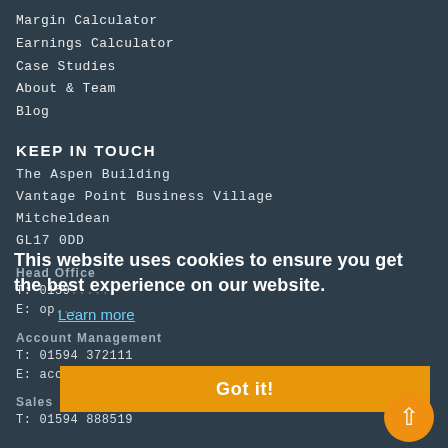Margin Calculator
Earnings Calculator
Case Studies
About & Team
Blog
KEEP IN TOUCH
The Aspen Building
Vantage Point Business Village
Mitcheldean
GL17 0DD
Head Office
T: 0159... 
E: op...
This website uses cookies to ensure you get the best experience on our website.
Learn more
Account Management
T: 01594 372111
E: accountmanagement@simplicityinbusiness.co...
Got it!
Sales
T: 01594 888519